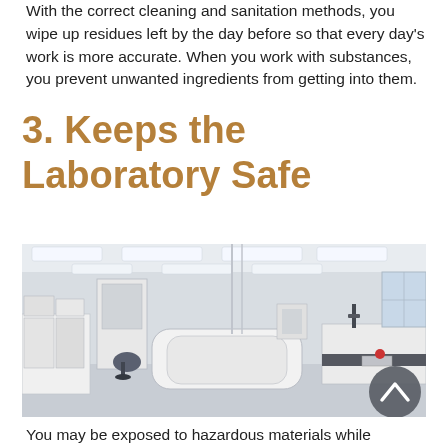With the correct cleaning and sanitation methods, you wipe up residues left by the day before so that every day's work is more accurate. When you work with substances, you prevent unwanted ingredients from getting into them.
3. Keeps the Laboratory Safe
[Figure (photo): Interior of a modern, clean laboratory with white workbenches, overhead lighting panels, fume hoods, and laboratory equipment. A chair is visible near the benches.]
You may be exposed to hazardous materials while working in a laboratory, so you have a few things to protect you.